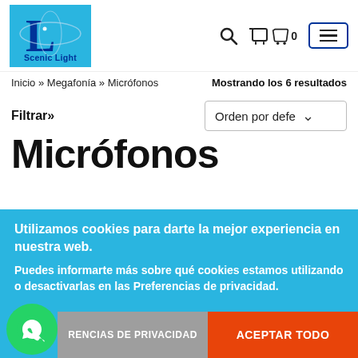[Figure (logo): Scenic Light logo: blue background with large dark blue letter L and oval, text 'Scenic Light' below]
Search icon, Cart icon with 0, Menu hamburger icon
Inicio » Megafonía » Micrófonos
Mostrando los 6 resultados
Filtrar»
Orden por defe
Micrófonos
Utilizamos cookies para darte la mejor experiencia en nuestra web.
Puedes informarte más sobre qué cookies estamos utilizando o desactivarlas en las Preferencias de privacidad.
RENCIAS DE PRIVACIDAD
ACEPTAR TODO